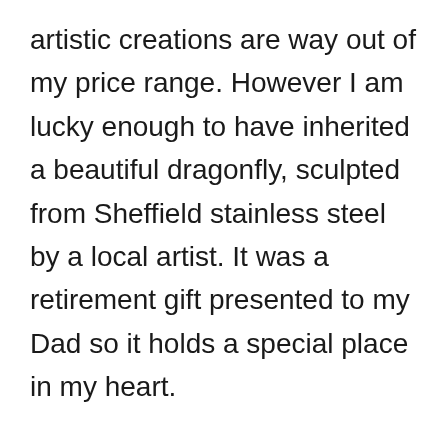artistic creations are way out of my price range. However I am lucky enough to have inherited a beautiful dragonfly, sculpted from Sheffield stainless steel by a local artist. It was a retirement gift presented to my Dad so it holds a special place in my heart.
I've written before about Jeremy, my frog ornament – he never looks very happy with life. I have a tiny frog too – Kiki – she currently sits on the corner of a low wall –